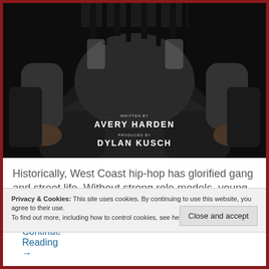[Figure (photo): Black and white photograph of a person with dreadlocks sitting in a chair wearing a jacket and leather pants. Overlay text reads: WRITTEN BY AVERY HARDEN / PRODUCED BY DYLAN KUSCH]
Historically, West Coast hip-hop has glorified gang and street life. Without strong role models, young
Privacy & Cookies: This site uses cookies. By continuing to use this website, you agree to their use.
To find out more, including how to control cookies, see here: Cookie Policy
Close and accept
Continue Reading →